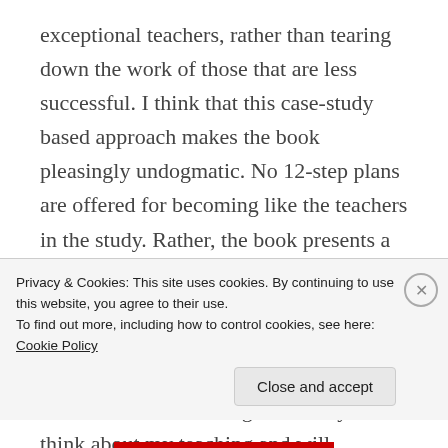exceptional teachers, rather than tearing down the work of those that are less successful. I think that this case-study based approach makes the book pleasingly undogmatic. No 12-step plans are offered for becoming like the teachers in the study. Rather, the book presents a framework for thinking about teaching that each practitioner can fill in with their own discipline-specific methods and personal tricks. “What the Best College Teachers Do” has changed the way I think about my teaching and will definitely be a resource that I refer to as I face new challenges in my teaching. I highly
Privacy & Cookies: This site uses cookies. By continuing to use this website, you agree to their use.
To find out more, including how to control cookies, see here: Cookie Policy
Close and accept